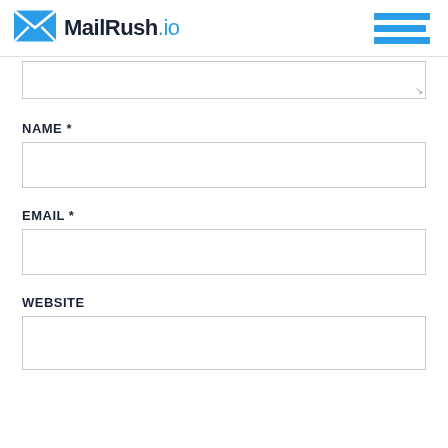MailRush.io
[textarea field - partially visible]
NAME *
[name input field]
EMAIL *
[email input field]
WEBSITE
[website input field]